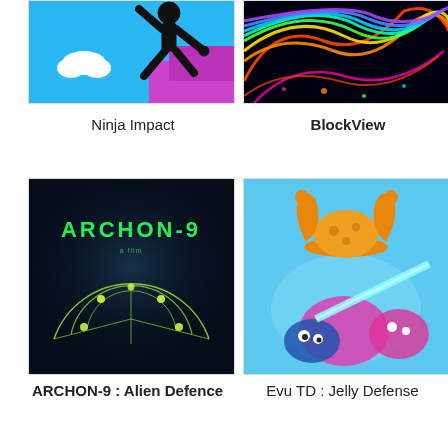[Figure (screenshot): Ninja Impact game screenshot showing a black stickman ninja silhouette against blue sky with a white cloud and purple block]
Ninja Impact
[Figure (screenshot): BlockView game screenshot showing colorful neon swirling patterns on black background]
BlockView
[Figure (screenshot): ARCHON-9 game screenshot showing neon green ARCHON-9 text and circular radar/targeting graphic on dark background]
ARCHON-9 : Alien Defence
[Figure (screenshot): Evu TD: Jelly Defense game art showing colorful cartoon characters on blue bubble background with jester hat character and laser]
Evu TD : Jelly Defense